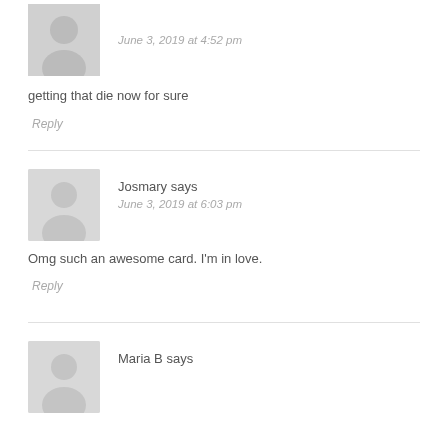[Figure (illustration): Grey placeholder avatar icon (person silhouette), partial top of comment]
June 3, 2019 at 4:52 pm
getting that die now for sure
Reply
[Figure (illustration): Grey placeholder avatar icon (person silhouette) for Josmary]
Josmary says
June 3, 2019 at 6:03 pm
Omg such an awesome card. I'm in love.
Reply
[Figure (illustration): Grey placeholder avatar icon (person silhouette) for Maria B, partially visible]
Maria B says